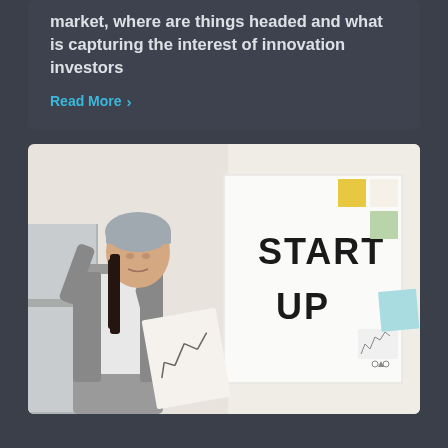market, where are things headed and what is capturing the interest of innovation investors
Read More >
[Figure (photo): A young Asian woman wearing a knit beanie hat and grey cardigan holds up papers with a chart/graph drawn on them. Behind her is a large whiteboard with 'START UP' written in large block letters. The background shows a modern office/kitchen space with colorful sticky notes on a board to the right.]